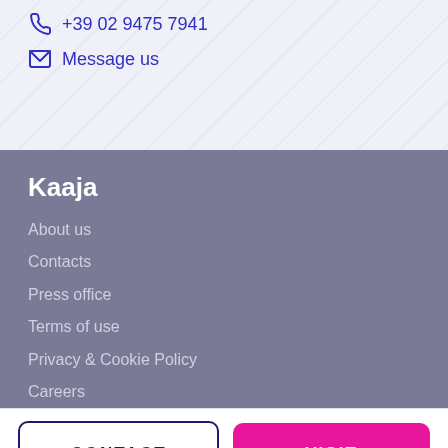+39 02 9475 7941
Message us
Kaaja
About us
Contacts
Press office
Terms of use
Privacy & Cookie Policy
Careers
CONTACT
VISIT